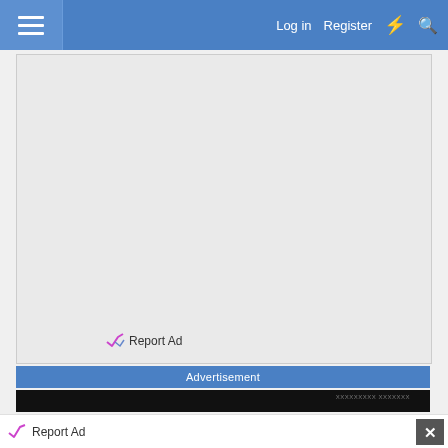Log in  Register
[Figure (other): Large grey advertisement placeholder area with Report Ad link at bottom]
Advertisement
[Figure (other): Dark image strip showing partial content]
Report Ad
[Figure (other): CarMax advertisement: See Cars Your Budget Will Love - CarMax]